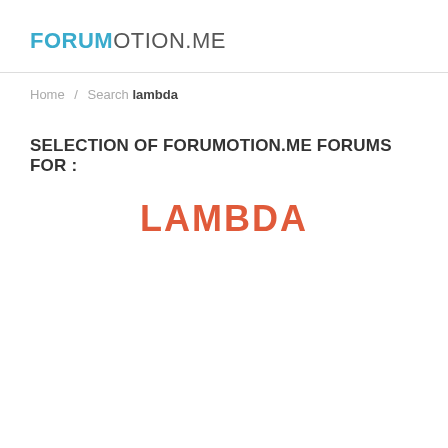FORUMOTION.ME
Home / Search lambda
SELECTION OF FORUMOTION.ME FORUMS FOR :
LAMBDA